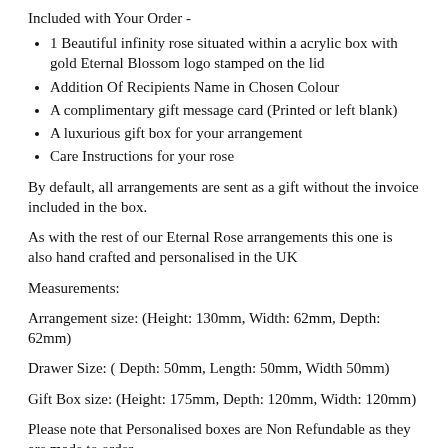Included with Your Order -
1 Beautiful infinity rose situated within a acrylic box with gold Eternal Blossom logo stamped on the lid
Addition Of Recipients Name in Chosen Colour
A complimentary gift message card (Printed or left blank)
A luxurious gift box for your arrangement
Care Instructions for your rose
By default, all arrangements are sent as a gift without the invoice included in the box.
As with the rest of our Eternal Rose arrangements this one is also hand crafted and personalised in the UK
Measurements:
Arrangement size: (Height: 130mm, Width: 62mm, Depth: 62mm)
Drawer Size: ( Depth: 50mm, Length: 50mm, Width 50mm)
Gift Box size: (Height: 175mm, Depth: 120mm, Width: 120mm)
Please note that Personalised boxes are Non Refundable as they are made to order.